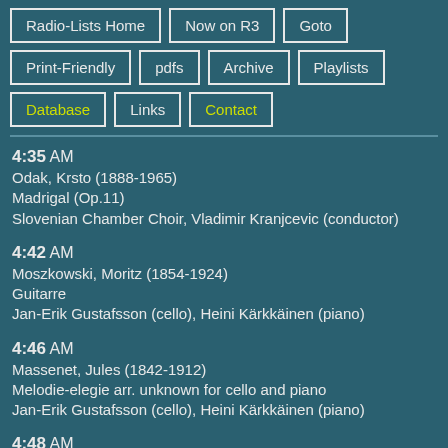Radio-Lists Home
Now on R3
Goto
Print-Friendly
pdfs
Archive
Playlists
Database
Links
Contact
4:35 AM
Odak, Krsto (1888-1965)
Madrigal (Op.11)
Slovenian Chamber Choir, Vladimir Kranjcevic (conductor)
4:42 AM
Moszkowski, Moritz (1854-1924)
Guitarre
Jan-Erik Gustafsson (cello), Heini Kärkkäinen (piano)
4:46 AM
Massenet, Jules (1842-1912)
Melodie-elegie arr. unknown for cello and piano
Jan-Erik Gustafsson (cello), Heini Kärkkäinen (piano)
4:48 AM